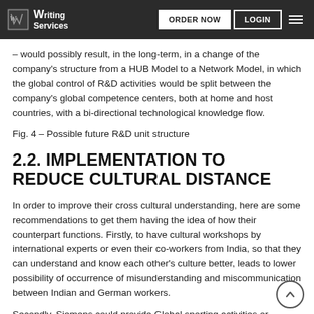Writing Services | ORDER NOW | LOGIN
– would possibly result, in the long-term, in a change of the company's structure from a HUB Model to a Network Model, in which the global control of R&D activities would be split between the company's global competence centers, both at home and host countries, with a bi-directional technological knowledge flow.
Fig. 4 – Possible future R&D unit structure
2.2. IMPLEMENTATION TO REDUCE CULTURAL DISTANCE
In order to improve their cross cultural understanding, here are some recommendations to get them having the idea of how their counterpart functions. Firstly, to have cultural workshops by international experts or even their co-workers from India, so that they can understand and know each other's culture better, leads to lower possibility of occurrence of misunderstanding and miscommunication between Indian and German workers.
Secondly, Siemens could provide Global sporting activities or